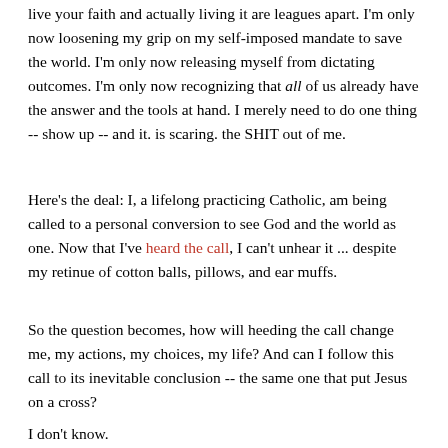live your faith and actually living it are leagues apart. I'm only now loosening my grip on my self-imposed mandate to save the world. I'm only now releasing myself from dictating outcomes. I'm only now recognizing that all of us already have the answer and the tools at hand. I merely need to do one thing -- show up -- and it. is scaring. the SHIT out of me.
Here's the deal: I, a lifelong practicing Catholic, am being called to a personal conversion to see God and the world as one. Now that I've heard the call, I can't unhear it ... despite my retinue of cotton balls, pillows, and ear muffs.
So the question becomes, how will heeding the call change me, my actions, my choices, my life? And can I follow this call to its inevitable conclusion -- the same one that put Jesus on a cross?
I don't know.